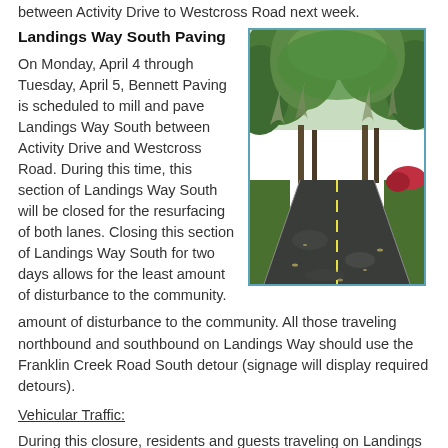between Activity Drive to Westcross Road next week.
Landings Way South Paving
On Monday, April 4 through Tuesday, April 5, Bennett Paving is scheduled to mill and pave Landings Way South between Activity Drive and Westcross Road. During this time, this section of Landings Way South will be closed for the resurfacing of both lanes. Closing this section of Landings Way South for two days allows for the least amount of disturbance to the community. All those traveling northbound and southbound on Landings Way should use the Franklin Creek Road South detour (signage will display required detours).
[Figure (photo): Photo of a freshly paved road lined with large trees with Spanish moss, showing a smooth dark asphalt surface with a yellow center line visible in the background.]
Vehicular Traffic:
During this closure, residents and guests traveling on Landings Way South are recommended to use the Oakridge gate to enter